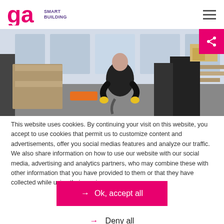GA Smart Building
[Figure (photo): Worker in a warehouse/logistics facility wearing black clothing, handling equipment among shelving and boxes]
This website uses cookies. By continuing your visit on this website, you accept to use cookies that permit us to customize content and advertisements, offer you social medias features and analyze our traffic. We also share information on how to use our website with our social media, advertising and analytics partners, who may combine these with other information that you have provided to them or that they have collected while using their services
→ Ok, accept all
→ Deny all
→ Personalize